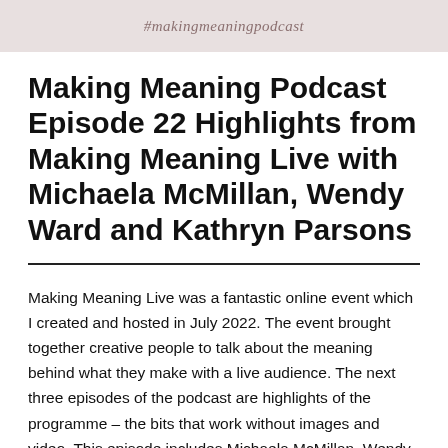#makingmeaningpodcast
Making Meaning Podcast Episode 22 Highlights from Making Meaning Live with Michaela McMillan, Wendy Ward and Kathryn Parsons
Making Meaning Live was a fantastic online event which I created and hosted in July 2022. The event brought together creative people to talk about the meaning behind what they make with a live audience. The next three episodes of the podcast are highlights of the programme – the bits that work without images and video. This episode includes Michaela McMillan, Wendy Ward and...